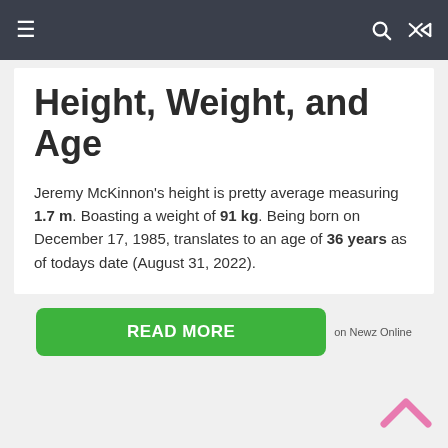☰  🔍  🔀
Height, Weight, and Age
Jeremy McKinnon's height is pretty average measuring 1.7 m. Boasting a weight of 91 kg. Being born on December 17, 1985, translates to an age of 36 years as of todays date (August 31, 2022).
READ MORE on Newz Online